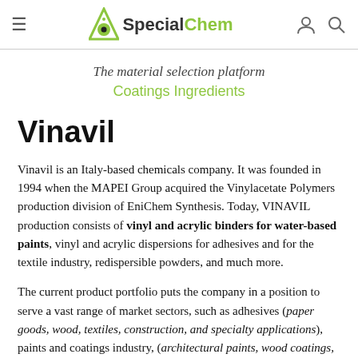SpecialChem — The material selection platform, Coatings Ingredients
The material selection platform
Coatings Ingredients
Vinavil
Vinavil is an Italy-based chemicals company. It was founded in 1994 when the MAPEI Group acquired the Vinylacetate Polymers production division of EniChem Synthesis. Today, VINAVIL production consists of vinyl and acrylic binders for water-based paints, vinyl and acrylic dispersions for adhesives and for the textile industry, redispersible powders, and much more.
The current product portfolio puts the company in a position to serve a vast range of market sectors, such as adhesives (paper goods, wood, textiles, construction, and specialty applications), paints and coatings industry, (architectural paints, wood coatings, industrial maintenance, and direct-to-